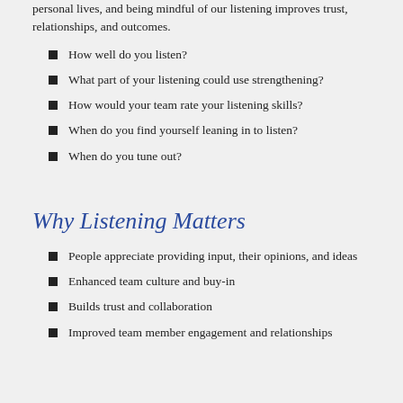personal lives, and being mindful of our listening improves trust, relationships, and outcomes.
How well do you listen?
What part of your listening could use strengthening?
How would your team rate your listening skills?
When do you find yourself leaning in to listen?
When do you tune out?
Why Listening Matters
People appreciate providing input, their opinions, and ideas
Enhanced team culture and buy-in
Builds trust and collaboration
Improved team member engagement and relationships